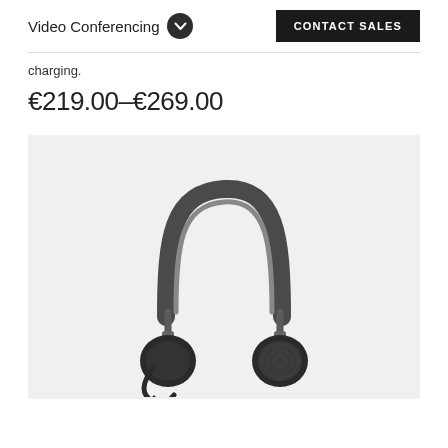Video Conferencing | CONTACT SALES
charging.
€219.00–€269.00
[Figure (photo): A black on-ear headset with a microphone boom arm, silver headband adjustment, and black ear cushions, displayed on a light gray background.]